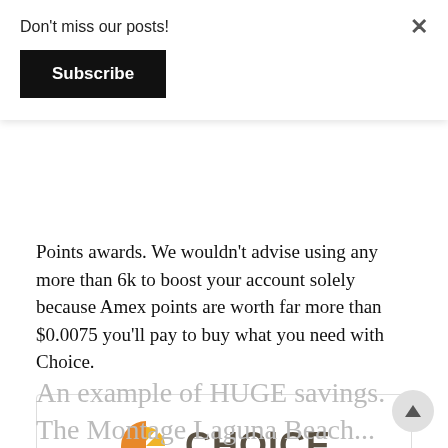Don't miss our posts!
Subscribe
Points awards. We wouldn't advise using any more than 6k to boost your account solely because Amex points are worth far more than $0.0075 you'll pay to buy what you need with Choice.
[Figure (logo): Choice Privileges Rewards logo with orange and grey branding. Text: CHOICE privileges. REWARDS. Below: 1000 Membership Rewards points = 1000 Choice Privileges®]
An example of HUGE savings. The Montage Laguna Beach...